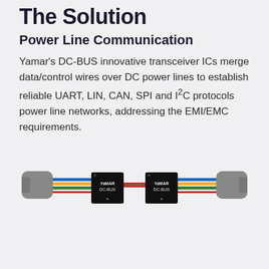The Solution
Power Line Communication
Yamar's DC-BUS innovative transceiver ICs merge data/control wires over DC power lines to establish reliable UART, LIN, CAN, SPI and I²C protocols power line networks, addressing the EMI/EMC requirements.
[Figure (photo): Two Yamar DC-BUS transceiver ICs connected by a power line cable with colored wires (blue, yellow, green, red) and connector housings on each end. The cable between the chips shows a signal pattern with red and green indicators.]